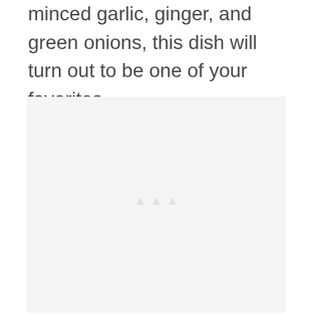minced garlic, ginger, and green onions, this dish will turn out to be one of your favorites.
[Figure (photo): A large light gray placeholder image area, nearly blank with very faint watermark-like markings in the center.]